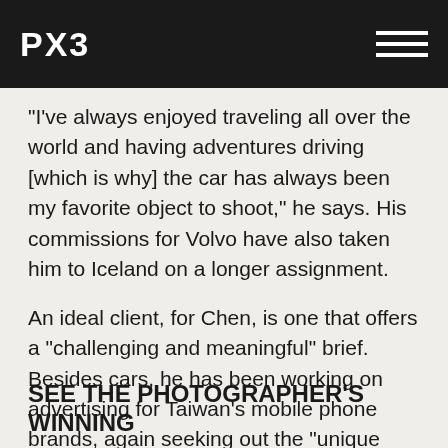PX3
“I’ve always enjoyed traveling all over the world and having adventures driving [which is why] the car has always been my favorite object to shoot,” he says. His commissions for Volvo have also taken him to Iceland on a longer assignment.
An ideal client, for Chen, is one that offers a “challenging and meaningful” brief. Besides cars, he has been working on advertising for Taiwan’s mobile phone brands, again seeking out the “unique style” of Taiwanese shoots.
By Anna Sansom
SEE THE PHOTOGRAPHER’S WINNING